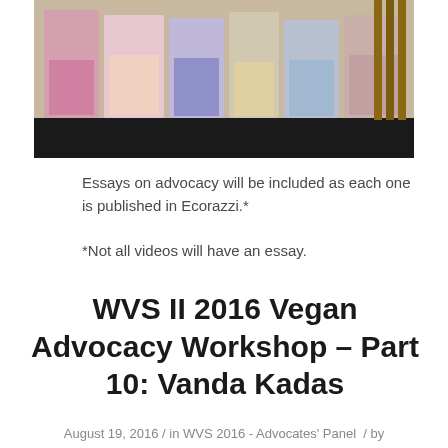[Figure (photo): Group of people seated in a row at what appears to be a panel discussion or workshop event. The image is partially cropped showing the lower portion of attendees.]
Essays on advocacy will be included as each one is published in Ecorazzi.*
*Not all videos will have an essay.
WVS II 2016 Vegan Advocacy Workshop – Part 10: Vanda Kadas
August 19, 2016 / in WVS 2016 - Advocates' Panel / by